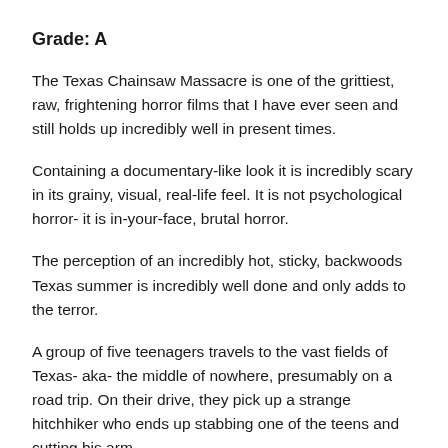Grade: A
The Texas Chainsaw Massacre is one of the grittiest, raw, frightening horror films that I have ever seen and still holds up incredibly well in present times.
Containing a documentary-like look it is incredibly scary in its grainy, visual, real-life feel. It is not psychological horror- it is in-your-face, brutal horror.
The perception of an incredibly hot, sticky, backwoods Texas summer is incredibly well done and only adds to the terror.
A group of five teenagers travels to the vast fields of Texas- aka- the middle of nowhere, presumably on a road trip. On their drive, they pick up a strange hitchhiker who ends up stabbing one of the teens and cutting his arm.